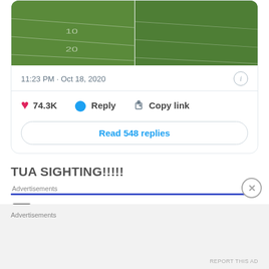[Figure (screenshot): Two side-by-side football field images showing green turf with yard lines]
11:23 PM · Oct 18, 2020
74.3K  Reply  Copy link
Read 548 replies
TUA SIGHTING!!!!!
Advertisements
[Figure (logo): Pressable logo with P icon]
Advertisements